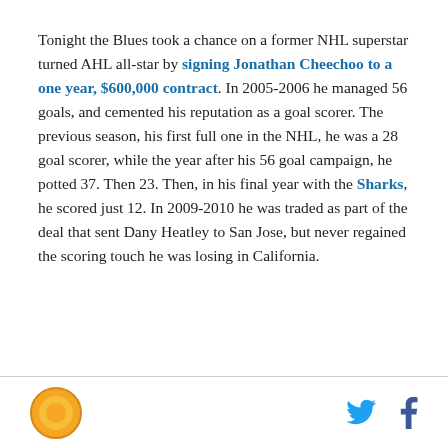Tonight the Blues took a chance on a former NHL superstar turned AHL all-star by signing Jonathan Cheechoo to a one year, $600,000 contract. In 2005-2006 he managed 56 goals, and cemented his reputation as a goal scorer. The previous season, his first full one in the NHL, he was a 28 goal scorer, while the year after his 56 goal campaign, he potted 37. Then 23. Then, in his final year with the Sharks, he scored just 12. In 2009-2010 he was traded as part of the deal that sent Dany Heatley to San Jose, but never regained the scoring touch he was losing in California.
Logo | Twitter | Facebook